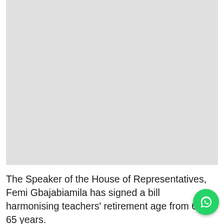[Figure (photo): Large light grey rectangular image placeholder occupying the top portion of the page]
The Speaker of the House of Representatives, Femi Gbajabiamila has signed a bill harmonising teachers' retirement age from 60 to 65 years.